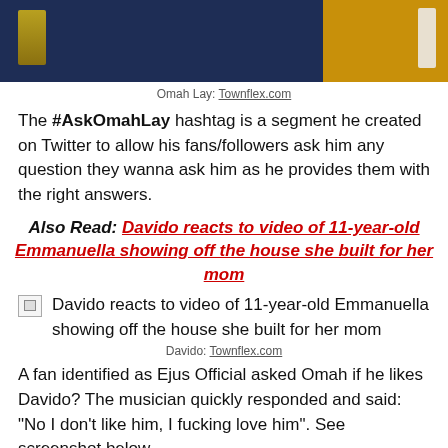[Figure (photo): Photo of Omah Lay wearing dark navy jacket with yellow detail, another person in yellow jacket visible on right]
Omah Lay: Townflex.com
The #AskOmahLay hashtag is a segment he created on Twitter to allow his fans/followers ask him any question they wanna ask him as he provides them with the right answers.
Also Read: Davido reacts to video of 11-year-old Emmanuella showing off the house she built for her mom
[Figure (photo): Broken image placeholder for Davido reacts to video of 11-year-old Emmanuella showing off the house she built for her mom]
Davido: Townflex.com
A fan identified as Ejus Official asked Omah if he likes Davido? The musician quickly responded and said: "No I don't like him, I fucking love him". See screenshot below